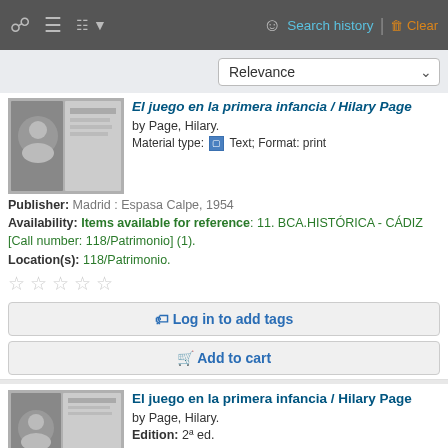Search history | Clear
Relevance
El juego en la primera infancia / Hilary Page
by Page, Hilary.
Material type: Text; Format: print
Publisher: Madrid : Espasa Calpe, 1954
Availability: Items available for reference: 11. BCA.HISTÓRICA - CÁDIZ [Call number: 118/Patrimonio] (1).
Location(s): 118/Patrimonio.
Log in to add tags
Add to cart
El juego en la primera infancia / Hilary Page
by Page, Hilary.
Edition: 2ª ed.